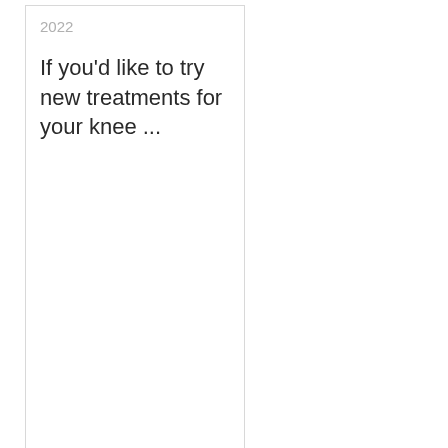2022
If you'd like to try new treatments for your knee ...
Three Reasons For Businesses To Install Health Screening Kiosks